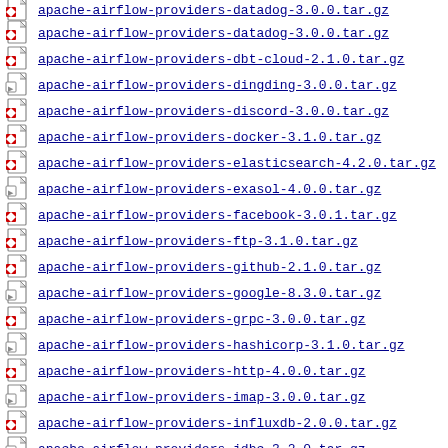apache-airflow-providers-datadog-3.0.0.tar.gz
apache-airflow-providers-dbt-cloud-2.1.0.tar.gz
apache-airflow-providers-dingding-3.0.0.tar.gz
apache-airflow-providers-discord-3.0.0.tar.gz
apache-airflow-providers-docker-3.1.0.tar.gz
apache-airflow-providers-elasticsearch-4.2.0.tar.gz
apache-airflow-providers-exasol-4.0.0.tar.gz
apache-airflow-providers-facebook-3.0.1.tar.gz
apache-airflow-providers-ftp-3.1.0.tar.gz
apache-airflow-providers-github-2.1.0.tar.gz
apache-airflow-providers-google-8.3.0.tar.gz
apache-airflow-providers-grpc-3.0.0.tar.gz
apache-airflow-providers-hashicorp-3.1.0.tar.gz
apache-airflow-providers-http-4.0.0.tar.gz
apache-airflow-providers-imap-3.0.0.tar.gz
apache-airflow-providers-influxdb-2.0.0.tar.gz
apache-airflow-providers-jdbc-3.2.0.tar.gz